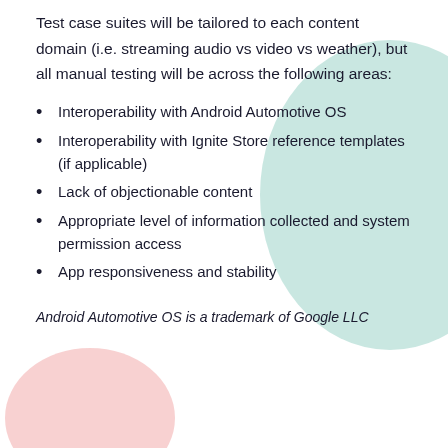Test case suites will be tailored to each content domain (i.e. streaming audio vs video vs weather), but all manual testing will be across the following areas:
Interoperability with Android Automotive OS
Interoperability with Ignite Store reference templates (if applicable)
Lack of objectionable content
Appropriate level of information collected and system permission access
App responsiveness and stability
Android Automotive OS is a trademark of Google LLC